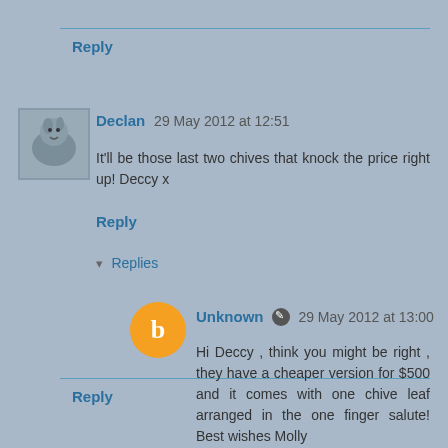Reply
Declan 29 May 2012 at 12:51
It'll be those last two chives that knock the price right up! Deccy x
Reply
Replies
Unknown 29 May 2012 at 13:00
Hi Deccy , think you might be right , they have a cheaper version for $500 and it comes with one chive leaf arranged in the one finger salute! Best wishes Molly
Reply